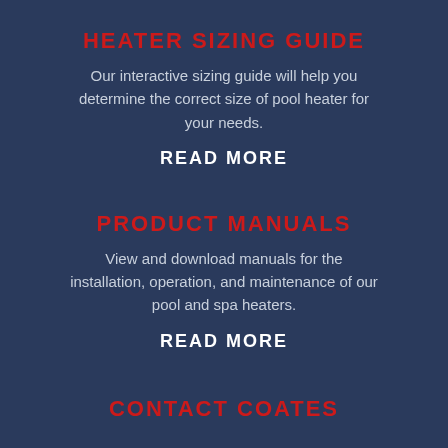HEATER SIZING GUIDE
Our interactive sizing guide will help you determine the correct size of pool heater for your needs.
READ MORE
PRODUCT MANUALS
View and download manuals for the installation, operation, and maintenance of our pool and spa heaters.
READ MORE
CONTACT COATES